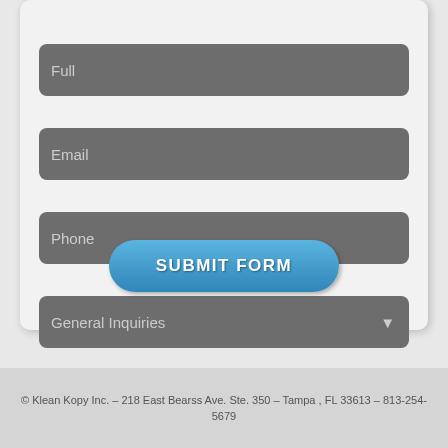[Figure (screenshot): A web contact form with fields for Full name, Email, Phone, a General Inquiries dropdown, and a SUBMIT FORM button. Fields are dark gray rounded rectangles on a light gray card background.]
© Klean Kopy Inc. – 218 East Bearss Ave. Ste. 350 – Tampa , FL 33613 – 813-254-5679